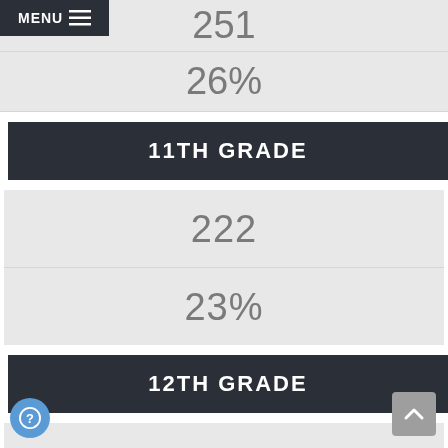MENU
11TH GRADE
222
23%
12TH GRADE
255
26%